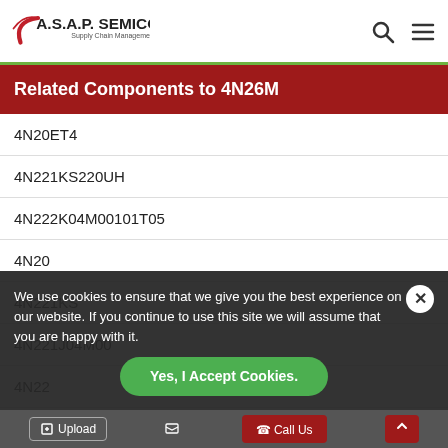A.S.A.P. SEMICONDUCTOR Supply Chain Management Worldwide
Related Components to 4N26M
4N20ET4
4N221KS220UH
4N222K04M00101T05
4N20
4N221KS
4N221J04M00
4N22
4N22
4N22
4N22
4N220K
We use cookies to ensure that we give you the best experience on our website. If you continue to use this site we will assume that you are happy with it.
Yes, I Accept Cookies.